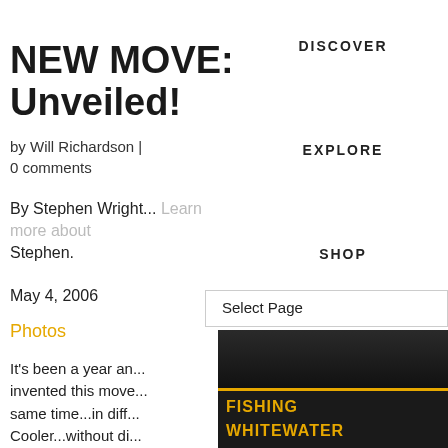DISCOVER
NEW MOVE: Unveiled!
by Will Richardson | 0 comments
By Stephen Wright... Learn more about Stephen.
EXPLORE
SHOP
Select Page
May 4, 2006
Photos
It's been a year and... invented this move... same time...in diffe... Cooler...without cli...
[Figure (screenshot): Dark water/river background image with gold navigation menu items: FISHING, WHITEWATER, RECREATION, COOLERS &]